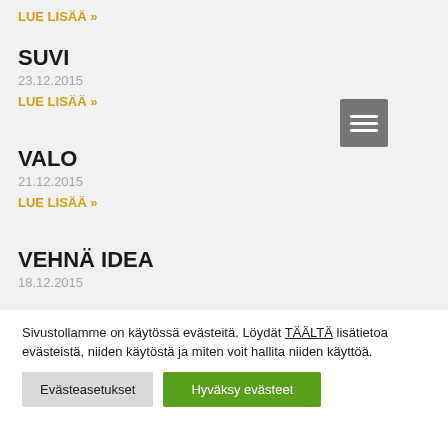LUE LISÄÄ »
SUVI
23.12.2015
LUE LISÄÄ »
[Figure (other): Hamburger menu icon button, grey square with three white horizontal lines]
VALO
21.12.2015
LUE LISÄÄ »
VEHNÄ IDEA
18.12.2015
Sivustollamme on käytössä evästeitä. Löydät TÄÄLTÄ lisätietoa evästeistä, niiden käytöstä ja miten voit hallita niiden käyttöä.
Evästeasetukset
Hyväksy evästeet